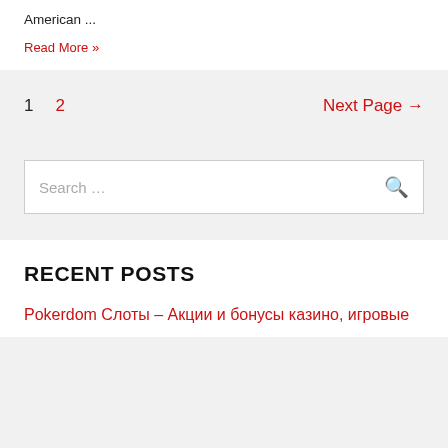American ...
Read More »
1  2  Next Page →
Search ...
RECENT POSTS
Pokerdom Слоты – Акции и бонусы казино, игровые